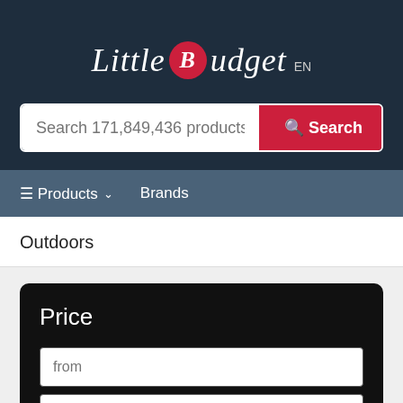Little Budget EN
Search 171,849,436 products
Products ▾  Brands
Outdoors
Price
from
to
fl Search